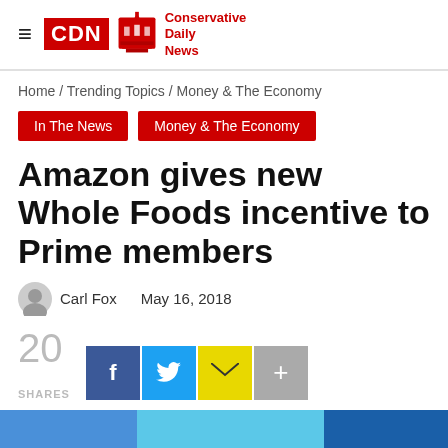CDN Conservative Daily News
Home / Trending Topics / Money & The Economy
In The News
Money & The Economy
Amazon gives new Whole Foods incentive to Prime members
Carl Fox   May 16, 2018
20 SHARES
The integration of Whole Foods into the Amazon